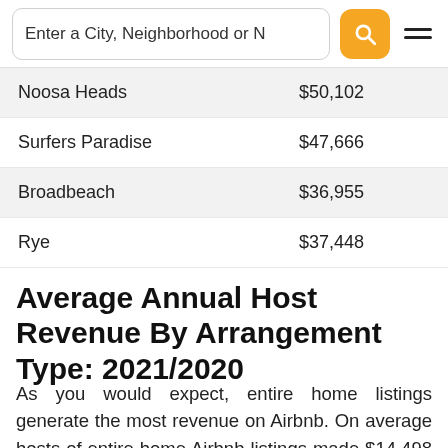Enter a City, Neighborhood or [search]
| Noosa Heads | $50,102 |
| Surfers Paradise | $47,666 |
| Broadbeach | $36,955 |
| Rye | $37,448 |
Average Annual Host Revenue By Arrangement Type: 2021/2020
As you would expect, entire home listings generate the most revenue on Airbnb. On average hosts of entire home Airbnb listings made $14,498 on Airbnb globally in 2021, which was slightly higher than in